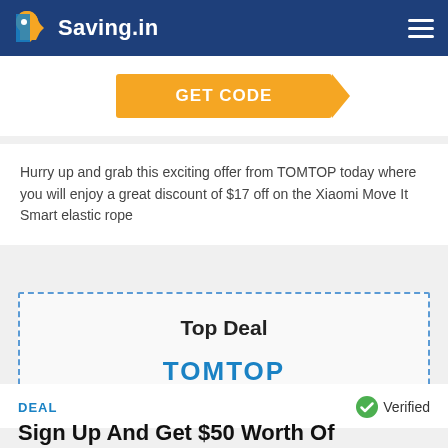Saving.in
[Figure (screenshot): GET CODE button with orange background and arrow pointing right]
Hurry up and grab this exciting offer from TOMTOP today where you will enjoy a great discount of $17 off on the Xiaomi Move It Smart elastic rope
[Figure (infographic): Top Deal card with dashed border containing TOMTOP logo and tagline 'Loving · Shopping · Sharing']
DEAL
Verified
Sign Up And Get $50 Worth Of Coupons